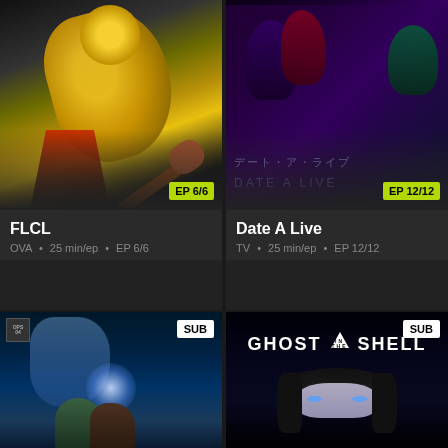[Figure (illustration): Anime thumbnail for FLCL showing a yellow robot-like character playing guitar, dark gradient background, EP 6/6 badge]
FLCL
OVA • 25 min/ep • EP 6/6
[Figure (illustration): Anime thumbnail for Date A Live showing multiple anime characters with Japanese text デート・ア・ライブ and DATE ALIVE subtitle, EP 12/12 badge]
Date A Live
TV • 25 min/ep • EP 12/12
[Figure (illustration): Anime thumbnail showing two characters in blue underwater scene with glowing light effect, SUB badge]
[Figure (illustration): Anime thumbnail for Ghost in the Shell showing title text with triangle logo and dark female character below, SUB badge]